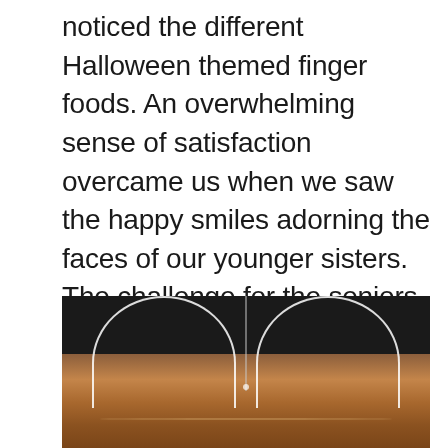noticed the different Halloween themed finger foods. An overwhelming sense of satisfaction overcame us when we saw the happy smiles adorning the faces of our younger sisters. The challenge for the seniors was to come up with an alternative-yet-fun way to celebrate Halloween without using sugar-loaded food.  It was worth all the effort to turn a typical trick-or-treat tradition into a “sweet” treat for the young ones.
[Figure (photo): A dark photograph showing two black chairs with curved backrest arcs visible at the top, and a wooden table surface in the lower portion of the image.]